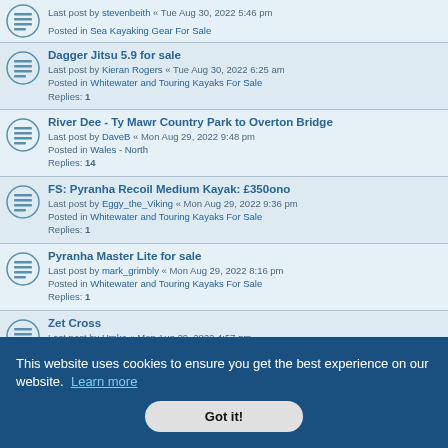Valley Anas 2 Double Sea Kayak for Sale - Last post by stevenbeith « Tue Aug 30, 2022 5:46 pm - Posted in Sea Kayaking Gear For Sale
Dagger Jitsu 5.9 for sale - Last post by Kieran Rogers « Tue Aug 30, 2022 6:25 am - Posted in Whitewater and Touring Kayaks For Sale - Replies: 1
River Dee - Ty Mawr Country Park to Overton Bridge - Last post by DaveB « Mon Aug 29, 2022 9:48 pm - Posted in Wales - North - Replies: 14
FS: Pyranha Recoil Medium Kayak: £350ono - Last post by Eggy_the_Viking « Mon Aug 29, 2022 9:36 pm - Posted in Whitewater and Touring Kayaks For Sale - Replies: 1
Pyranha Master Lite for sale - Last post by mark_grimbly « Mon Aug 29, 2022 8:16 pm - Posted in Whitewater and Touring Kayaks For Sale - Replies: 1
Zet Cross - Last post by Umko « Mon Aug 29, 2022 4:57 pm
Pyranha... - Last post by HeartOfAllEngland « Mon Aug 29, 2022 10:57 am
This website uses cookies to ensure you get the best experience on our website. Learn more
Got it!